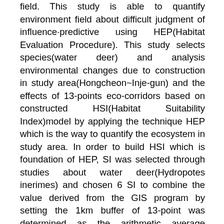field. This study is able to quantify environment field about difficult judgment of influence·predictive using HEP(Habitat Evaluation Procedure). This study selects species(water deer) and analysis environmental changes due to construction in study area(Hongcheon~Inje-gun) and the effects of 13-points eco-corridors based on constructed HSI(Habitat Suitability Index)model by applying the technique HEP which is the way to quantify the ecosystem in study area. In order to build HSI which is foundation of HEP, SI was selected through studies about water deer(Hydropotes inerimes) and chosen 6 SI to combine the value derived from the GIS program by setting the 1km buffer of 13-point was determined as the arithmetic average method. HU(Habitat Unit) value through the area and cumulative THU(Total Habitat Unit) value was finally derived value of the CHU(Cumulative Habitat Unit) of HEP' final Index. Using the CHU value, it can quantitatively compare and evaluate about the presence·absence of construction. First results, HSI value of Hongcheon~Inje-gun was calculated at 0.71 that is determined to be position consisting on appropriate quality as water deer habitat requirements on the basis of more than HSI 0.6. And it was compared to separate into three using at EIA of NEPA that is a